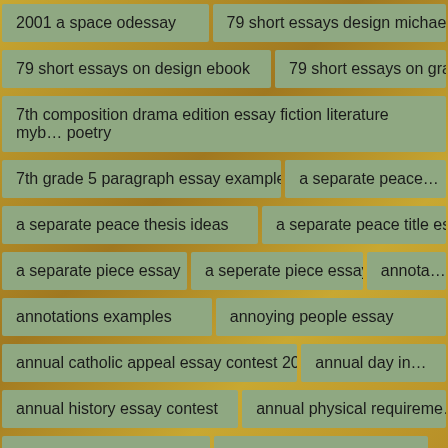2001 a space odessay
79 short essays design michael b…
79 short essays on design ebook
79 short essays on gra…
7th composition drama edition essay fiction literature myb… poetry
7th grade 5 paragraph essay example
a separate peace…
a separate peace thesis ideas
a separate peace title ess…
a separate piece essay
a seperate piece essay
annota…
annotations examples
annoying people essay
annual catholic appeal essay contest 2012
annual day in…
annual history essay contest
annual physical requireme…
annual report essay
annual reports tips
annual signet classic scholarship essay contest 2012